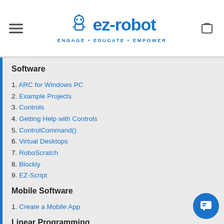ez-robot ENGAGE • EDUCATE • EMPOWER
Software
1. ARC for Windows PC
2. Example Projects
3. Controls
4. Getting Help with Controls
5. ControlCommand()
6. Virtual Desktops
7. RoboScratch
8. Blockly
9. EZ-Script
Mobile Software
1. Create a Mobile App
Linear Programming